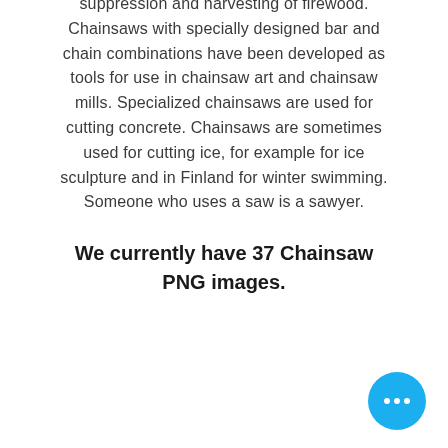suppression and harvesting of firewood. Chainsaws with specially designed bar and chain combinations have been developed as tools for use in chainsaw art and chainsaw mills. Specialized chainsaws are used for cutting concrete. Chainsaws are sometimes used for cutting ice, for example for ice sculpture and in Finland for winter swimming. Someone who uses a saw is a sawyer.
We currently have 37 Chainsaw PNG images.